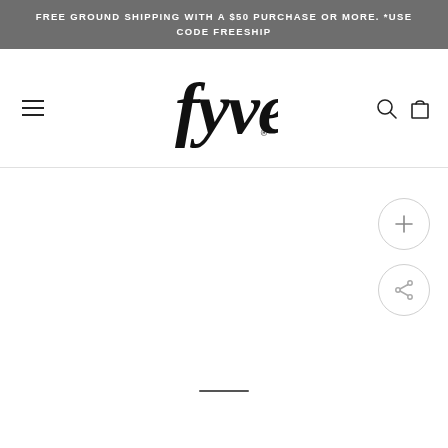FREE GROUND SHIPPING WITH A $50 PURCHASE OR MORE. *USE CODE FREESHIP
[Figure (logo): Fyve brand logo in cursive/script handwriting style, black on white]
[Figure (other): Plus button (add/zoom) circle icon on right side of product image area]
[Figure (other): Share button circle icon on right side of product image area]
[Figure (other): Scroll indicator horizontal line at bottom of product image area]